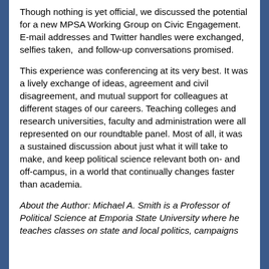Though nothing is yet official, we discussed the potential for a new MPSA Working Group on Civic Engagement. E-mail addresses and Twitter handles were exchanged, selfies taken,  and follow-up conversations promised.
This experience was conferencing at its very best. It was a lively exchange of ideas, agreement and civil disagreement, and mutual support for colleagues at different stages of our careers. Teaching colleges and research universities, faculty and administration were all represented on our roundtable panel. Most of all, it was a sustained discussion about just what it will take to make, and keep political science relevant both on- and off-campus, in a world that continually changes faster than academia.
About the Author: Michael A. Smith is a Professor of Political Science at Emporia State University where he teaches classes on state and local politics, campaigns...